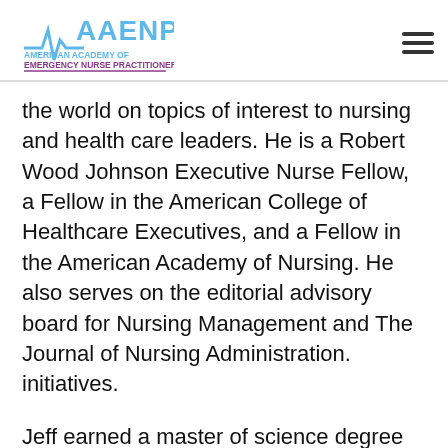AAENP - American Academy of Emergency Nurse Practitioners
the world on topics of interest to nursing and health care leaders. He is a Robert Wood Johnson Executive Nurse Fellow, a Fellow in the American College of Healthcare Executives, and a Fellow in the American Academy of Nursing. He also serves on the editorial advisory board for Nursing Management and The Journal of Nursing Administration. initiatives.
Jeff earned a master of science degree in health care administration and a bachelor degree in nursing from Marymount University, and